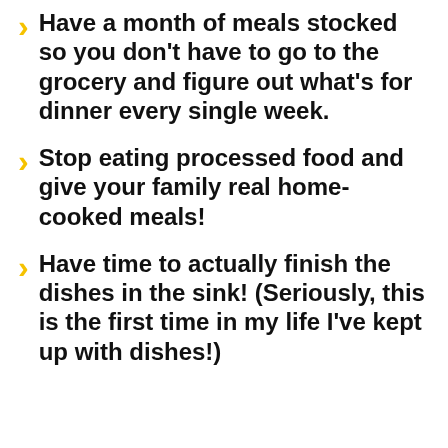Have a month of meals stocked so you don't have to go to the grocery and figure out what's for dinner every single week.
Stop eating processed food and give your family real home-cooked meals!
Have time to actually finish the dishes in the sink! (Seriously, this is the first time in my life I've kept up with dishes!)